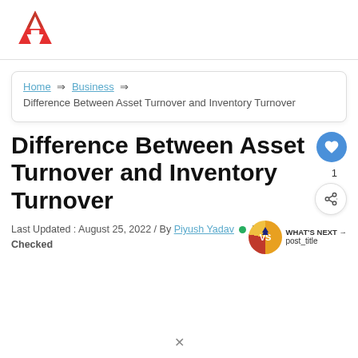Arthapedia logo
Home ⇒ Business ⇒ Difference Between Asset Turnover and Inventory Turnover
Difference Between Asset Turnover and Inventory Turnover
Last Updated : August 25, 2022 / By Piyush Yadav / Fact Checked